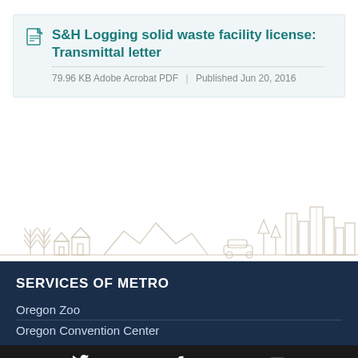S&H Logging solid waste facility license: Transmittal letter
79.96 KB Adobe Acrobat PDF | Published Jun 20, 2016
[Figure (illustration): Line-art illustration of a city skyline with buildings, trees, mountains, and a car — metro area scene in light beige/tan outline style]
SERVICES OF METRO
Oregon Zoo
Oregon Convention Center
[Figure (other): Bottom navigation bar with Twitter bird icon, Facebook 'f' icon, and envelope/email icon on dark background]